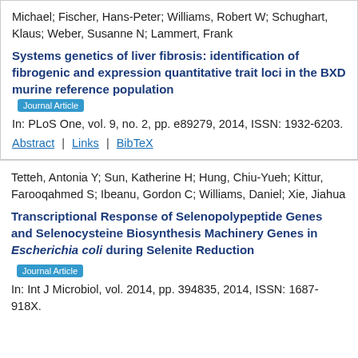Michael; Fischer, Hans-Peter; Williams, Robert W; Schughart, Klaus; Weber, Susanne N; Lammert, Frank
Systems genetics of liver fibrosis: identification of fibrogenic and expression quantitative trait loci in the BXD murine reference population
In: PLoS One, vol. 9, no. 2, pp. e89279, 2014, ISSN: 1932-6203.
Abstract | Links | BibTeX
Tetteh, Antonia Y; Sun, Katherine H; Hung, Chiu-Yueh; Kittur, Farooqahmed S; Ibeanu, Gordon C; Williams, Daniel; Xie, Jiahua
Transcriptional Response of Selenopolypeptide Genes and Selenocysteine Biosynthesis Machinery Genes in Escherichia coli during Selenite Reduction
Journal Article
In: Int J Microbiol, vol. 2014, pp. 394835, 2014, ISSN: 1687-918X.